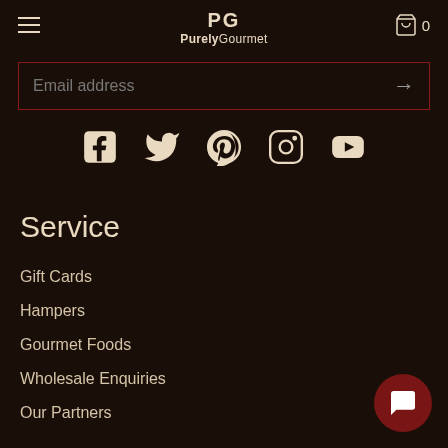PurelyGourmet — navigation header with hamburger menu, logo, and cart
Email address →
[Figure (infographic): Social media icons: Facebook, Twitter, Pinterest, Instagram, YouTube]
Service
Gift Cards
Hampers
Gourmet Foods
Wholesale Enquiries
Our Partners
Corporate Gifting
Blog